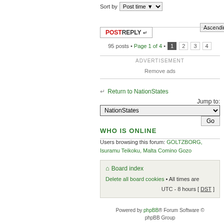Sort by  Post time ▼  Ascending ▼  Go
POSTREPLY ↵
95 posts • Page 1 of 4 • 1 2 3 4
ADVERTISEMENT
Remove ads
↵ Return to NationStates
Jump to:
NationStates  Go
WHO IS ONLINE
Users browsing this forum: GOLTZBORG, Isuramu Teikoku, Malta Comino Gozo
Board index
Delete all board cookies • All times are UTC - 8 hours [ DST ]
Powered by phpBB® Forum Software © phpBB Group